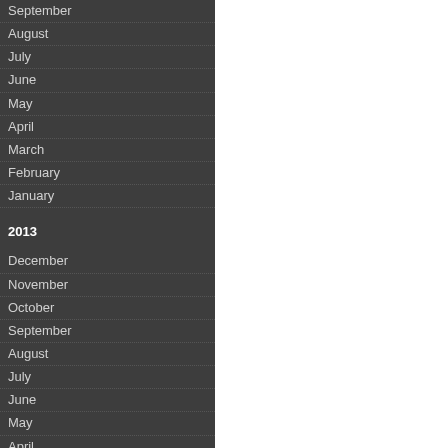September
August
July
June
May
April
March
February
January
2013
December
November
October
September
August
July
June
May
April
March
February
January
2012
December
November
October
September
August
July
June
May
April
March